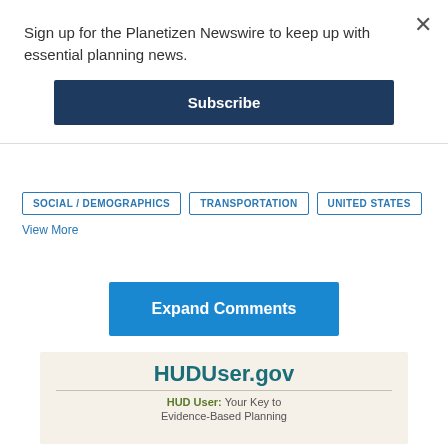Sign up for the Planetizen Newswire to keep up with essential planning news.
Subscribe
SOCIAL / DEMOGRAPHICS
TRANSPORTATION
UNITED STATES
View More
Expand Comments
[Figure (logo): HUDUser.gov advertisement banner with text: HUDUser.gov and HUD User: Your Key to Evidence-Based Planning]